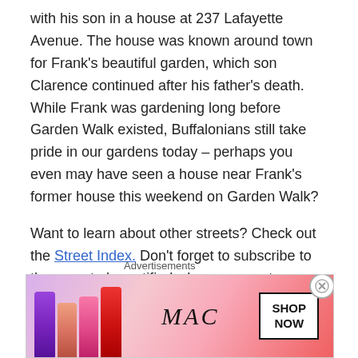with his son in a house at 237 Lafayette Avenue. The house was known around town for Frank's beautiful garden, which son Clarence continued after his father's death. While Frank was gardening long before Garden Walk existed, Buffalonians still take pride in our gardens today – perhaps you even may have seen a house near Frank's former house this weekend on Garden Walk?
Want to learn about other streets? Check out the Street Index. Don't forget to subscribe to the page to be notified when new posts are made. You can do so by entering your email address in the box on the upper right hand side of the home page. You can also follow the blog on facebook. If you enjoy the blog, please be sure to share i...
Advertisements
[Figure (photo): MAC cosmetics advertisement banner showing colorful lipsticks on the left side, MAC logo in italic script in the center, and a 'SHOP NOW' box on the right.]